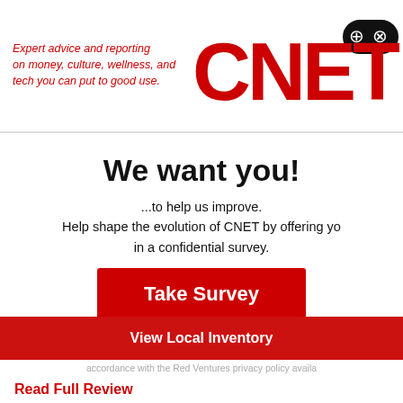Expert advice and reporting on money, culture, wellness, and tech you can put to good use.
[Figure (logo): CNET logo in red with game controller icon]
We want you!
...to help us improve. Help shape the evolution of CNET by offering yo in a confidential survey.
Take Survey
Contact us.
When you reply to this survey, you acknowledge that Red Ventures colle accordance with the Red Ventures privacy policy availa
View Local Inventory
Read Full Review